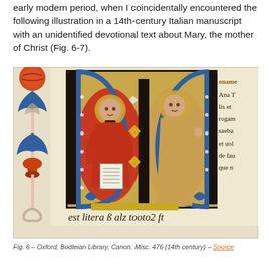early modern period, when I coincidentally encountered the following illustration in a 14th-century Italian manuscript with an unidentified devotional text about Mary, the mother of Christ (Fig. 6-7).
[Figure (photo): Illuminated manuscript page from a 14th-century Italian devotional text. Features a decorated initial M with two haloed figures inside — one in red robes kneeling and holding a document, one in tan/gold robes standing. To the left is an ornate blue and red pen flourish. To the right, partial Gothic text in brown ink is visible. At the bottom, Gothic text reads: est litera ß alz tooto2 ft]
Fig. 6 – Oxford, Bodleian Library, Canon. Misc. 476 (14th century) – Source